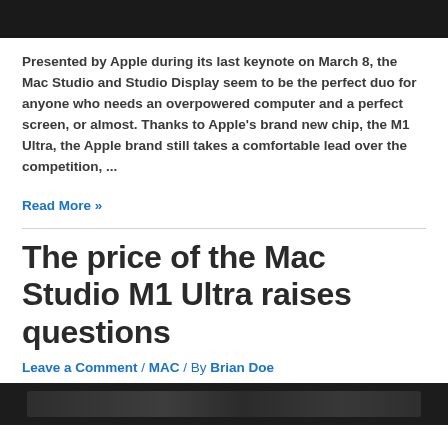[Figure (photo): Dark/black image at the top of the page, partial view of a Mac Studio or Apple product]
Presented by Apple during its last keynote on March 8, the Mac Studio and Studio Display seem to be the perfect duo for anyone who needs an overpowered computer and a perfect screen, or almost. Thanks to Apple's brand new chip, the M1 Ultra, the Apple brand still takes a comfortable lead over the competition, ...
Read More »
The price of the Mac Studio M1 Ultra raises questions
Leave a Comment / MAC / By Brian Doe
[Figure (photo): Dark image at the bottom showing Mac Studio or Apple product setup]